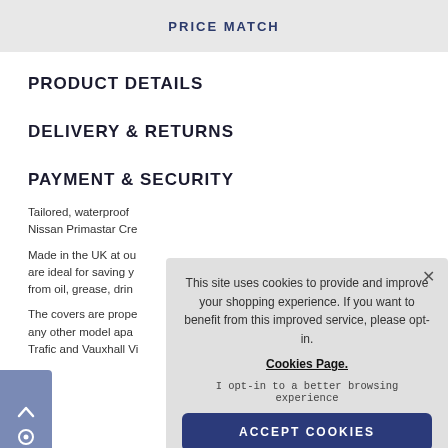PRICE MATCH
PRODUCT DETAILS
DELIVERY & RETURNS
PAYMENT & SECURITY
Tailored, waterproof ... Nissan Primastar Cre...
Made in the UK at ou... are ideal for saving y... from oil, grease, drin...
The covers are prope... any other model apa... Trafic and Vauxhall Vi...
This site uses cookies to provide and improve your shopping experience. If you want to benefit from this improved service, please opt-in. Cookies Page. I opt-in to a better browsing experience ACCEPT COOKIES